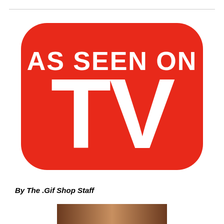[Figure (logo): As Seen On TV logo — red rounded-rectangle badge with white bold text 'AS SEEN ON' and large 'TV']
By The .Gif Shop Staff
[Figure (photo): Partial photo visible at bottom of page]